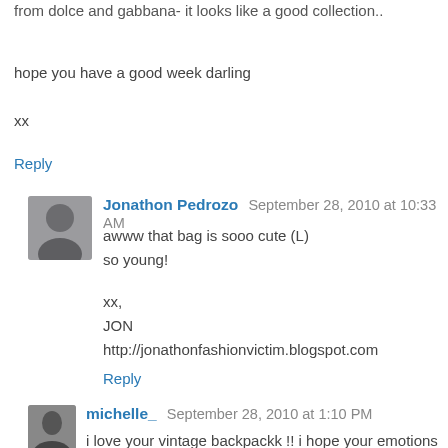from dolce and gabbana- it looks like a good collection..
hope you have a good week darling
xx
Reply
Jonathon Pedrozo  September 28, 2010 at 10:33 AM
awww that bag is sooo cute (L)
so young!
xx,
JON
http://jonathonfashionvictim.blogspot.com
Reply
michelle_  September 28, 2010 at 1:10 PM
i love your vintage backpackk !! i hope your emotions are back to the "normal" levels now :)